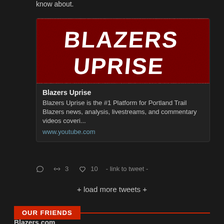know about.
[Figure (illustration): Blazers Uprise logo – red background with white bold text reading BLAZERS UPRISE]
Blazers Uprise
Blazers Uprise is the #1 Platform for Portland Trail Blazers news, analysis, livestreams, and commentary videos coveri...
www.youtube.com
3   10  - link to tweet -
+ load more tweets +
OUR FRIENDS
Blazers.com